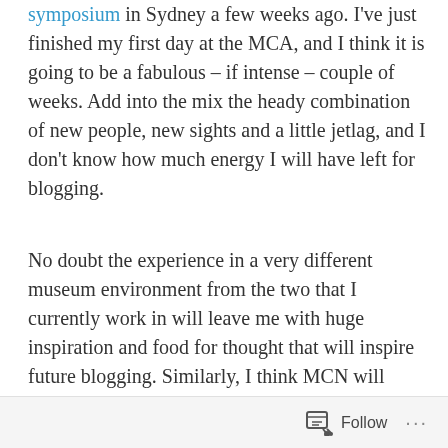symposium in Sydney a few weeks ago. I've just finished my first day at the MCA, and I think it is going to be a fabulous – if intense – couple of weeks. Add into the mix the heady combination of new people, new sights and a little jetlag, and I don't know how much energy I will have left for blogging.
No doubt the experience in a very different museum environment from the two that I currently work in will leave me with huge inspiration and food for thought that will inspire future blogging. Similarly, I think MCN will open me up to some interesting new conversations as well. I think the period straight after I return home will probably be the antithesis of this quieter time on the blog front, but in the mean time, you should check out O, Song! This blog has nothing to do with museums, but does always link to
Follow ···